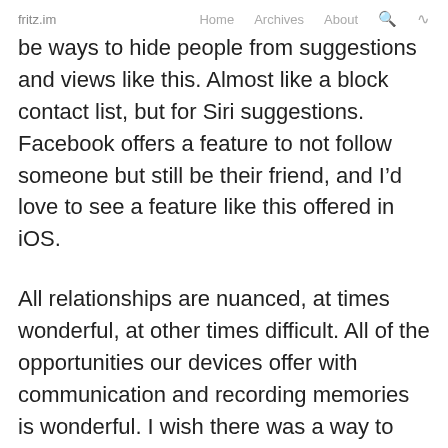fritz.im   Home   Archives   About
be ways to hide people from suggestions and views like this. Almost like a block contact list, but for Siri suggestions. Facebook offers a feature to not follow someone but still be their friend, and I’d love to see a feature like this offered in iOS.
All relationships are nuanced, at times wonderful, at other times difficult. All of the opportunities our devices offer with communication and recording memories is wonderful. I wish there was a way to “take those pictures off the wall,” so to say, to not constantly be reminded of that person, whether for a short period of time of forever.